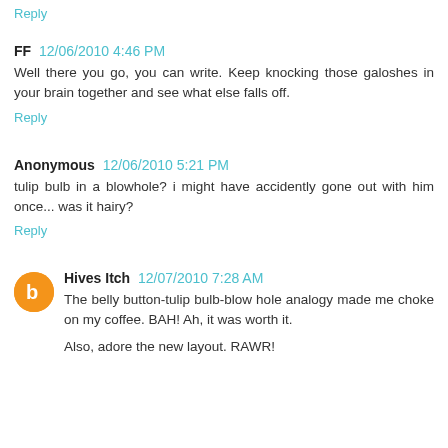Reply
FF  12/06/2010 4:46 PM
Well there you go, you can write. Keep knocking those galoshes in your brain together and see what else falls off.
Reply
Anonymous  12/06/2010 5:21 PM
tulip bulb in a blowhole? i might have accidently gone out with him once... was it hairy?
Reply
Hives Itch  12/07/2010 7:28 AM
The belly button-tulip bulb-blow hole analogy made me choke on my coffee. BAH! Ah, it was worth it.
Also, adore the new layout. RAWR!